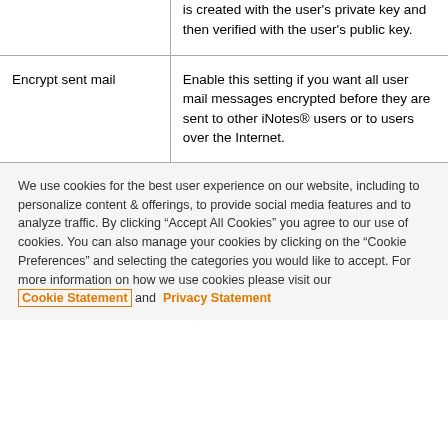|  | is created with the user's private key and then verified with the user's public key. |
| Encrypt sent mail | Enable this setting if you want all user mail messages encrypted before they are sent to other iNotes® users or to users over the Internet. |
We use cookies for the best user experience on our website, including to personalize content & offerings, to provide social media features and to analyze traffic. By clicking "Accept All Cookies" you agree to our use of cookies. You can also manage your cookies by clicking on the "Cookie Preferences" and selecting the categories you would like to accept. For more information on how we use cookies please visit our Cookie Statement and Privacy Statement